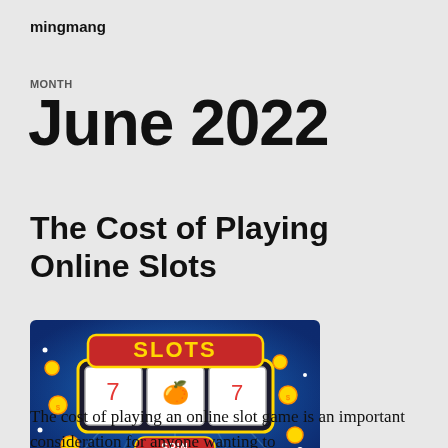mingmang
MONTH
June 2022
The Cost of Playing Online Slots
[Figure (illustration): A colorful online slot machine game banner with the word SLOTS displayed prominently, coins scattered around, and a SPIN button at the bottom, set against a blue background with light rays.]
The cost of playing an online slot game is an important consideration for anyone wanting to